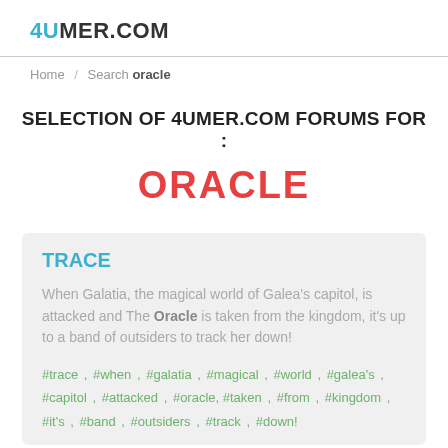4UMER.COM
Home / Search oracle
SELECTION OF 4UMER.COM FORUMS FOR :
ORACLE
TRACE
When Galatia, the magical world of Galea's capitol, is attacked and The Oracle is taken from the kingdom, it's up to a band of outsiders to track her down!
#trace , #when , #galatia , #magical , #world , #galea's , #capitol , #attacked , #oracle, #taken , #from , #kingdom , #it's , #band , #outsiders , #track , #down!